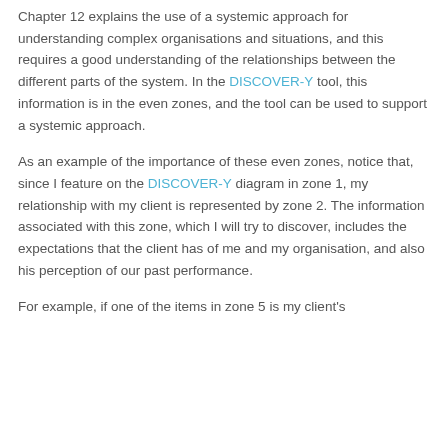client belongs to zone 3, whereas what I know about my client's relationship with my competitors belongs to zone 4.
Chapter 12 explains the use of a systemic approach for understanding complex organisations and situations, and this requires a good understanding of the relationships between the different parts of the system. In the DISCOVER-Y tool, this information is in the even zones, and the tool can be used to support a systemic approach.
As an example of the importance of these even zones, notice that, since I feature on the DISCOVER-Y diagram in zone 1, my relationship with my client is represented by zone 2. The information associated with this zone, which I will try to discover, includes the expectations that the client has of me and my organisation, and also his perception of our past performance.
For example, if one of the items in zone 5 is my client's